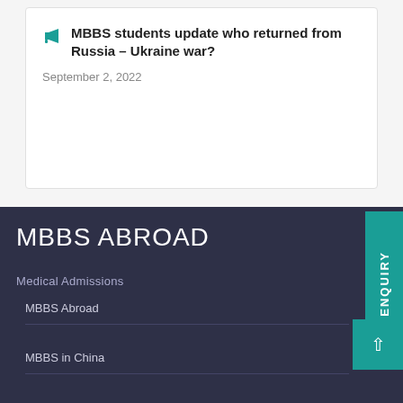MBBS students update who returned from Russia – Ukraine war? September 2, 2022
MBBS ABROAD
Medical Admissions
MBBS Abroad
MBBS in China